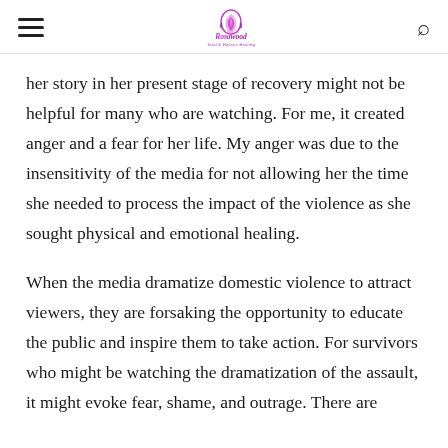Rosewood [logo]
her story in her present stage of recovery might not be helpful for many who are watching. For me, it created anger and a fear for her life. My anger was due to the insensitivity of the media for not allowing her the time she needed to process the impact of the violence as she sought physical and emotional healing.
When the media dramatize domestic violence to attract viewers, they are forsaking the opportunity to educate the public and inspire them to take action. For survivors who might be watching the dramatization of the assault, it might evoke fear, shame, and outrage. There are